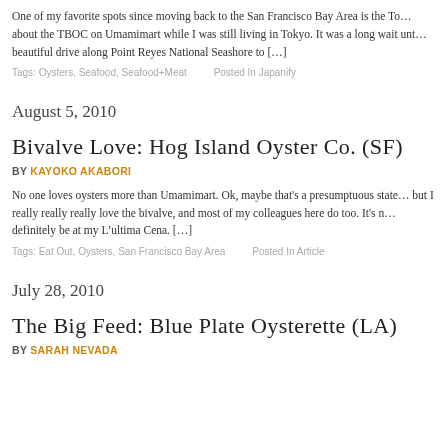One of my favorite spots since moving back to the San Francisco Bay Area is the To... about the TBOC on Umamimart while I was still living in Tokyo. It was a long wait unt... beautiful drive along Point Reyes National Seashore to [...]
Tags: Oysters, Seafood, Seafood+Meat   Posted In Japanify
August 5, 2010
Bivalve Love: Hog Island Oyster Co. (SF)
BY KAYOKO AKABORI
No one loves oysters more than Umamimart. Ok, maybe that's a presumptuous state... but I really really really love the bivalve, and most of my colleagues here do too. It's n... definitely be at my L'ultima Cena. [...]
Tags: Eat Out, Oysters, San Francisco Bay Area   Posted In Article
July 28, 2010
The Big Feed: Blue Plate Oysterette (LA)
BY SARAH NEVADA